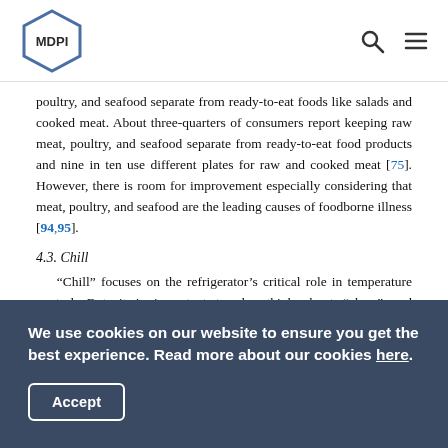MDPI
poultry, and seafood separate from ready-to-eat foods like salads and cooked meat. About three-quarters of consumers report keeping raw meat, poultry, and seafood separate from ready-to-eat food products and nine in ten use different plates for raw and cooked meat [75]. However, there is room for improvement especially considering that meat, poultry, and seafood are the leading causes of foodborne illness [94,95].
4.3. Chill
“Chill” focuses on the refrigerator’s critical role in temperature control. But, it is important to also think about “clean” and “separate” in this appliance. Studies indicate that
We use cookies on our website to ensure you get the best experience. Read more about our cookies here.
Accept